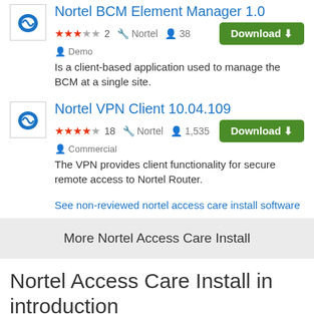Nortel BCM Element Manager 1.0
★★★☆☆ 2  Nortel  38  Demo
Is a client-based application used to manage the BCM at a single site.
Nortel VPN Client 10.04.109
★★★★☆ 18  Nortel  1,535  Commercial
The VPN provides client functionality for secure remote access to Nortel Router.
See non-reviewed nortel access care install software
More Nortel Access Care Install
Nortel Access Care Install in introduction